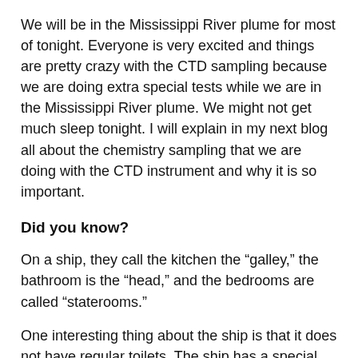We will be in the Mississippi River plume for most of tonight. Everyone is very excited and things are pretty crazy with the CTD sampling because we are doing extra special tests while we are in the Mississippi River plume. We might not get much sleep tonight. I will explain in my next blog all about the chemistry sampling that we are doing with the CTD instrument and why it is so important.
Did you know?
On a ship, they call the kitchen the “galley,” the bathroom is the “head,” and the bedrooms are called “staterooms.”
One interesting thing about the ship is that it does not have regular toilets. The ship has a special marine toilet system that functions with a vacuum and very thin pipes. If one of the vacuums on one of the toilets is not closed, none of the toilets work!